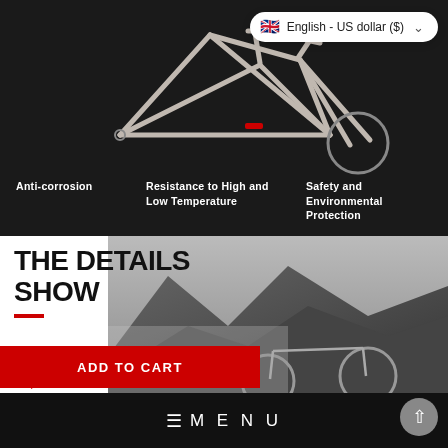[Figure (screenshot): Dark background with titanium bicycle frame illustration and language selector dropdown showing English - US dollar ($) with UK flag]
English - US dollar ($)
Anti-corrosion
Resistance to High and Low Temperature
Safety and Environmental Protection
THE DETAILS SHOW
[Figure (photo): Black and white landscape with mountain terrain and bicycle in lower section]
MENU
ADD TO CART